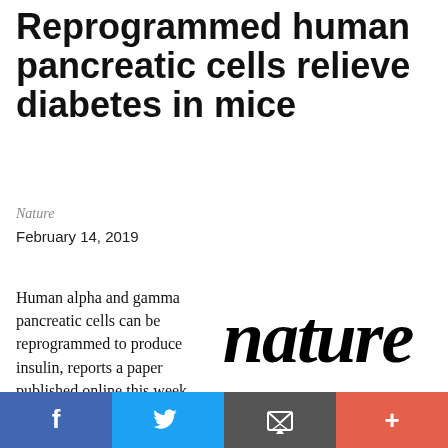Reprogrammed human pancreatic cells relieve diabetes in mice
Nature
February 14, 2019
Human alpha and gamma pancreatic cells can be reprogrammed to produce insulin, reports a paper published online this week in Nature. Typically, only
[Figure (logo): Nature journal logo in large bold italic serif font]
[Figure (infographic): Social sharing bar with Facebook (blue), Twitter (light blue), Email (grey), and More/Plus (red-orange) buttons]